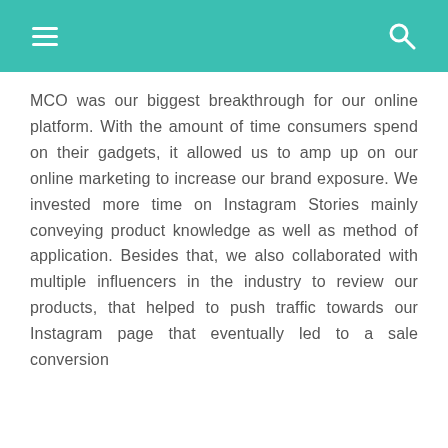MCO was our biggest breakthrough for our online platform. With the amount of time consumers spend on their gadgets, it allowed us to amp up on our online marketing to increase our brand exposure. We invested more time on Instagram Stories mainly conveying product knowledge as well as method of application. Besides that, we also collaborated with multiple influencers in the industry to review our products, that helped to push traffic towards our Instagram page that eventually led to a sale conversion